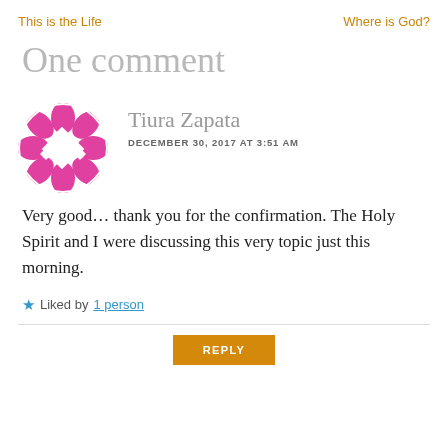This is the Life    Where is God?
One comment
[Figure (illustration): Pink decorative avatar icon with diamond/floral geometric pattern in a circle]
Tiura Zapata
DECEMBER 30, 2017 AT 3:51 AM
Very good... thank you for the confirmation. The Holy Spirit and I were discussing this very topic just this morning.
Liked by 1 person
REPLY